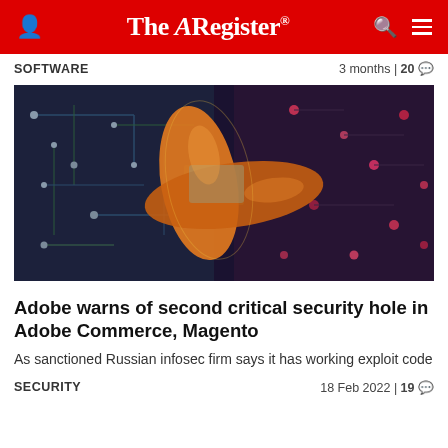The Register
SOFTWARE | 3 months | 20
[Figure (photo): An orange adhesive bandage/plaster crossed over a circuit board, symbolizing a security patch applied to hardware/software.]
Adobe warns of second critical security hole in Adobe Commerce, Magento
As sanctioned Russian infosec firm says it has working exploit code
SECURITY | 18 Feb 2022 | 19